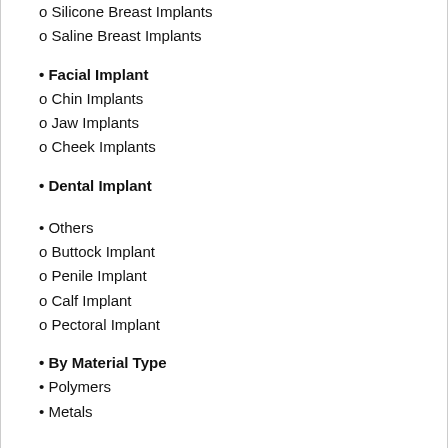o Silicone Breast Implants
o Saline Breast Implants
• Facial Implant
o Chin Implants
o Jaw Implants
o Cheek Implants
• Dental Implant
• Others
o Buttock Implant
o Penile Implant
o Calf Implant
o Pectoral Implant
• By Material Type
• Polymers
• Metals